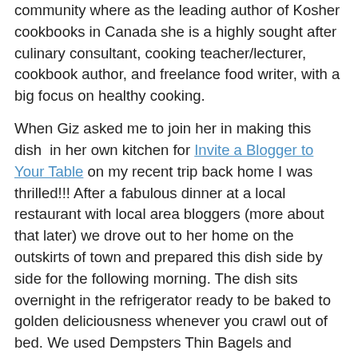community where as the leading author of Kosher cookbooks in Canada she is a highly sought after culinary consultant, cooking teacher/lecturer, cookbook author, and freelance food writer, with a big focus on healthy cooking.
When Giz asked me to join her in making this dish in her own kitchen for Invite a Blogger to Your Table on my recent trip back home I was thrilled!!! After a fabulous dinner at a local restaurant with local area bloggers (more about that later) we drove out to her home on the outskirts of town and prepared this dish side by side for the following morning. The dish sits overnight in the refrigerator ready to be baked to golden deliciousness whenever you crawl out of bed. We used Dempsters Thin Bagels and smoked salmon (lox) for a mouthwatering casserole that's perfect for feeding your family and yet special enough for guests. Also in the photo above you will find Giz' exceptional perogies found on her site. "Every cook puts his or her own mark on a dish," Noreen says. "If you give someone a recipe, they'll always put their own twist on it. There's a certain chemistry between the cook and the ingredients."
Your assignment, if you choose to accept it, is to "Invite a